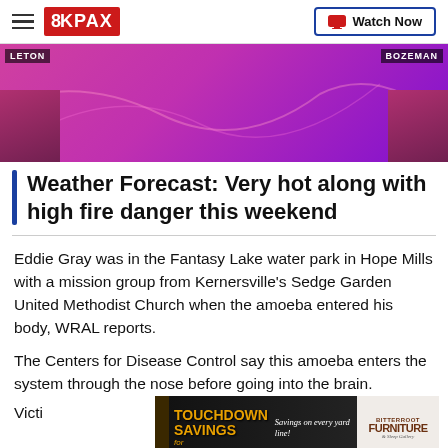8KPAX | Watch Now
[Figure (photo): Weather map showing pink/purple radar imagery with location labels LETON and BOZEMAN]
Weather Forecast: Very hot along with high fire danger this weekend
Eddie Gray was in the Fantasy Lake water park in Hope Mills with a mission group from Kernersville's Sedge Garden United Methodist Church when the amoeba entered his body, WRAL reports.
The Centers for Disease Control say this amoeba enters the system through the nose before going into the brain.
[Figure (photo): Advertisement banner: TOUCHDOWN SAVINGS - Savings on every yard line! BITTERROOT Furniture & Sleep Gallery]
Victi